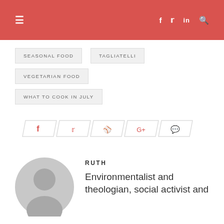≡  f  𝕥  in  🔍
SEASONAL FOOD
TAGLIATELLI
VEGETARIAN FOOD
WHAT TO COOK IN JULY
[Figure (infographic): Social share bar with icons for Facebook, Twitter, Pinterest, Google+, and Comment, styled with skewed parallelogram backgrounds in light gray outline.]
RUTH
Environmentalist and theologian, social activist and